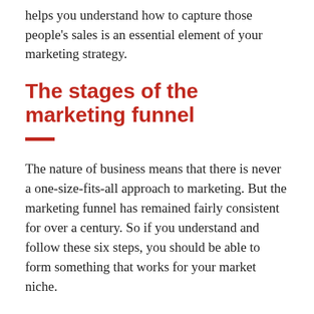helps you understand how to capture those people's sales is an essential element of your marketing strategy.
The stages of the marketing funnel
The nature of business means that there is never a one-size-fits-all approach to marketing. But the marketing funnel has remained fairly consistent for over a century. So if you understand and follow these six steps, you should be able to form something that works for your market niche.